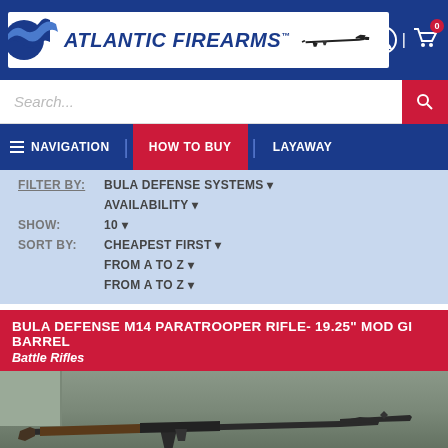[Figure (screenshot): Atlantic Firearms website header with logo, rifle silhouette, cart icon showing 0 items, and user icon]
Search...
NAVIGATION | HOW TO BUY | LAYAWAY
FILTER BY: BULA DEFENSE SYSTEMS ▼
AVAILABILITY ▼
SHOW: 10 ▼
SORT BY: CHEAPEST FIRST ▼
FROM A TO Z ▼
FROM A TO Z ▼
BULA DEFENSE M14 PARATROOPER RIFLE- 19.25" MOD GI BARREL
Battle Rifles
[Figure (photo): Photo of a Bula Defense M14 Paratrooper rifle with wood stock, partially visible against a green/grey background]